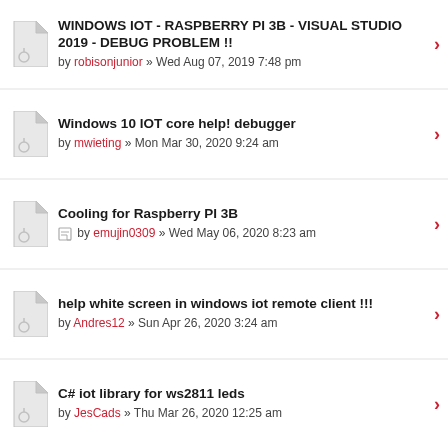WINDOWS IOT - RASPBERRY PI 3B - VISUAL STUDIO 2019 - DEBUG PROBLEM !! by robisonjunior » Wed Aug 07, 2019 7:48 pm
Windows 10 IOT core help! debugger by mwieting » Mon Mar 30, 2020 9:24 am
Cooling for Raspberry PI 3B by emujin0309 » Wed May 06, 2020 8:23 am
help white screen in windows iot remote client !!! by Andres12 » Sun Apr 26, 2020 3:24 am
C# iot library for ws2811 leds by JesCads » Thu Mar 26, 2020 12:25 am